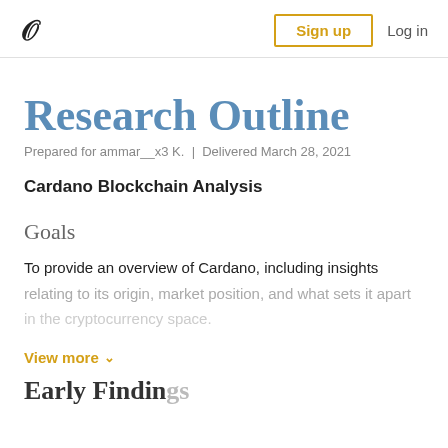W | Sign up | Log in
Research Outline
Prepared for ammar__x3 K. | Delivered March 28, 2021
Cardano Blockchain Analysis
Goals
To provide an overview of Cardano, including insights relating to its origin, market position, and what sets it apart in the cryptocurrency space.
View more
Early Findings